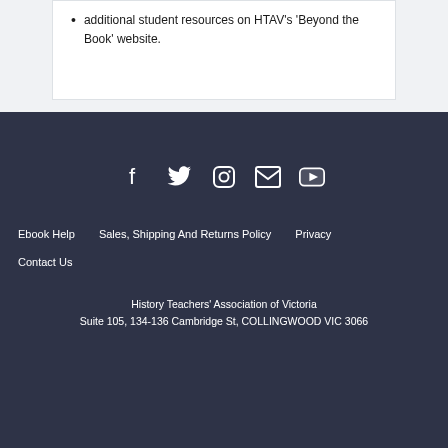additional student resources on HTAV's 'Beyond the Book' website.
[Figure (other): Social media icons: Facebook, Twitter, Instagram, Email, YouTube on dark footer background]
Ebook Help   Sales, Shipping And Returns Policy   Privacy   Contact Us   History Teachers' Association of Victoria   Suite 105, 134-136 Cambridge St, COLLINGWOOD VIC 3066